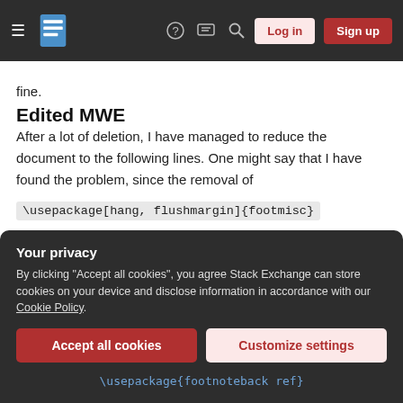Stack Exchange navigation bar with Log in and Sign up buttons
fine.
Edited MWE
After a lot of deletion, I have managed to reduce the document to the following lines. One might say that I have found the problem, since the removal of \usepackage[hang, flushmargin]{footmisc} stops the problem, but I would still like to have non-indented footnotes.
Your privacy
By clicking "Accept all cookies", you agree Stack Exchange can store cookies on your device and disclose information in accordance with our Cookie Policy.
Accept all cookies   Customize settings
\usepackage{footnoteback ref}